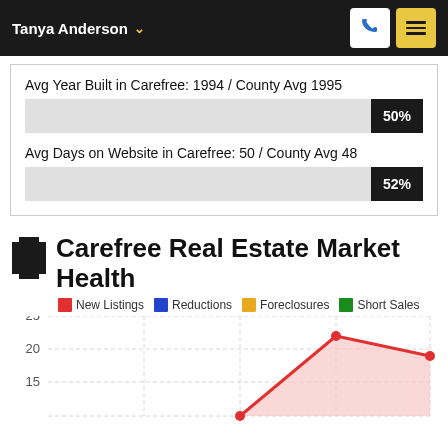Tanya Anderson
Avg Year Built in Carefree: 1994 / County Avg 1995
50%
Avg Days on Website in Carefree: 50 / County Avg 48
52%
Carefree Real Estate Market Health
[Figure (line-chart): Line chart showing Carefree Real Estate Market Health with series for New Listings, Reductions, Foreclosures, and Short Sales. Y-axis shows values 15, 20, 25. New Listings line visible rising to ~22 then dropping to ~19.]